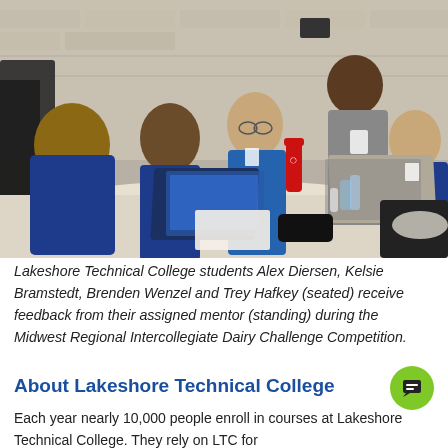[Figure (photo): Students from Lakeshore Technical College sitting around a white round table with laptops open, receiving feedback from a standing mentor. Students wearing blue polo shirts, mentor standing behind them.]
Lakeshore Technical College students Alex Diersen, Kelsie Bramstedt, Brenden Wenzel and Trey Hafkey (seated) receive feedback from their assigned mentor (standing) during the Midwest Regional Intercollegiate Dairy Challenge Competition.
About Lakeshore Technical College
Each year nearly 10,000 people enroll in courses at Lakeshore Technical College. They rely on LTC for